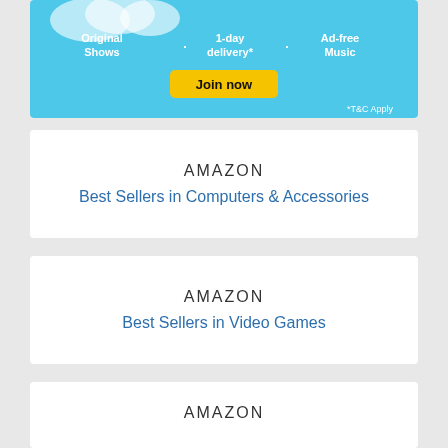[Figure (illustration): Amazon Prime banner with light blue background showing 'Original Shows', '1-day delivery', 'Ad-free Music', a yellow 'Join now' button, and '*T&C Apply' text]
AMAZON
Best Sellers in Computers & Accessories
AMAZON
Best Sellers in Video Games
AMAZON